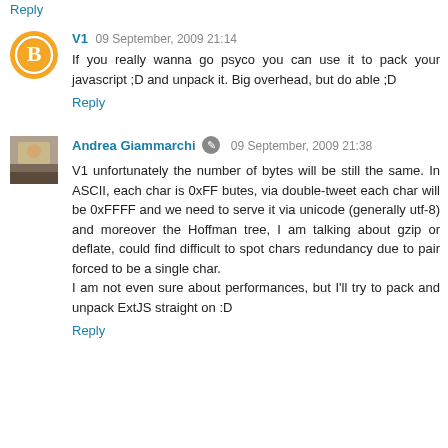Reply
V1  09 September, 2009 21:14
If you really wanna go psyco you can use it to pack your javascript ;D and unpack it. Big overhead, but do able ;D
Reply
Andrea Giammarchi  09 September, 2009 21:38
V1 unfortunately the number of bytes will be still the same. In ASCII, each char is 0xFF butes, via double-tweet each char will be 0xFFFF and we need to serve it via unicode (generally utf-8) and moreover the Hoffman tree, I am talking about gzip or deflate, could find difficult to spot chars redundancy due to pair forced to be a single char.
I am not even sure about performances, but I'll try to pack and unpack ExtJS straight on :D
Reply